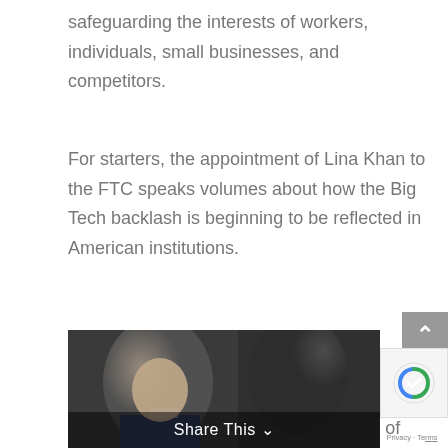safeguarding the interests of workers, individuals, small businesses, and competitors.
For starters, the appointment of Lina Khan to the FTC speaks volumes about how the Big Tech backlash is beginning to be reflected in American institutions.
Khan has become somewhat of a hero in progressive circles for her aggressive, straightforward stance on the necessity of curbing the dominance of Big Tech companies.
[Figure (photo): A partially visible photo of people in a formal/hearing setting, with a Share This overlay button at the bottom.]